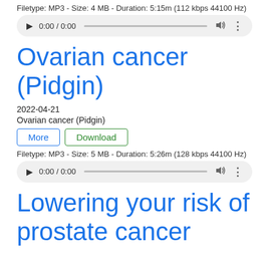Filetype: MP3 - Size: 4 MB - Duration: 5:15m (112 kbps 44100 Hz)
[Figure (other): Audio player with play button, 0:00 / 0:00 time display, progress bar, volume icon, and more options icon on a grey rounded rectangle background]
Ovarian cancer (Pidgin)
2022-04-21
Ovarian cancer (Pidgin)
More   Download
Filetype: MP3 - Size: 5 MB - Duration: 5:26m (128 kbps 44100 Hz)
[Figure (other): Audio player with play button, 0:00 / 0:00 time display, progress bar, volume icon, and more options icon on a grey rounded rectangle background]
Lowering your risk of prostate cancer